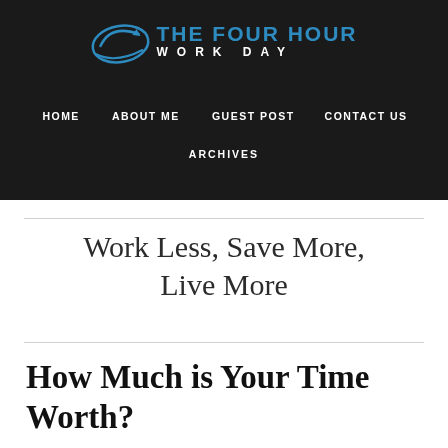[Figure (logo): The Four Hour Work Day logo with circular emblem icon and blue/white text]
HOME   ABOUT ME   GUEST POST   CONTACT US   ARCHIVES
Work Less, Save More, Live More
How Much is Your Time Worth?